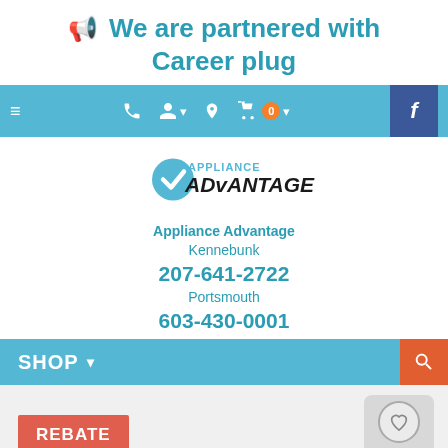We are partnered with Career plug
[Figure (screenshot): Navigation bar with hamburger menu, phone, user, location, cart with 0 badge, and Facebook button]
[Figure (logo): Appliance Advantage logo with checkmark]
Appliance Advantage
Kennebunk
207-641-2722
Portsmouth
603-430-0001
[Figure (screenshot): SHOP navigation bar with dropdown arrow and orange search button]
[Figure (screenshot): Bottom area with REBATE button and wishlist/scroll-up icon]